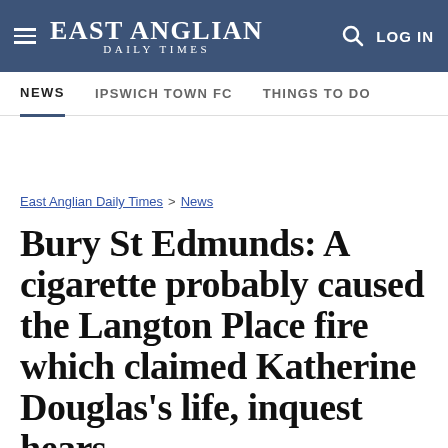EAST ANGLIAN DAILY TIMES
NEWS | IPSWICH TOWN FC | THINGS TO DO
East Anglian Daily Times > News
Bury St Edmunds: A cigarette probably caused the Langton Place fire which claimed Katherine Douglas's life, inquest hears